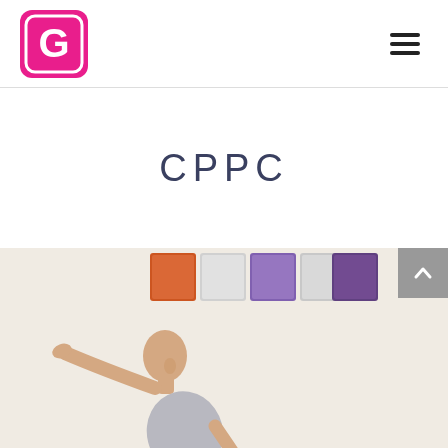[Figure (logo): Pink square logo with letter G inside, brand logo]
[Figure (other): Hamburger menu icon (three horizontal lines)]
CPPC
[Figure (photo): A person doing a yoga side stretch pose in a studio with colorful wall tiles in the background]